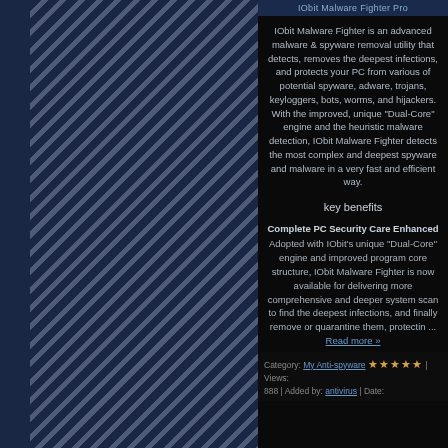IObit Malware Fighter Pro
IObit Malware Fighter is an advanced malware & spyware removal utility that detects, removes the deepest infections, and protects your PC from various of potential spyware, adware, trojans, keyloggers, bots, worms, and hijackers. With the improved, unique "Dual-Core" engine and the heuristic malware detection, IObit Malware Fighter detects the most complex and deepest spyware and malware in a very fast and efficient way.
key benefits
Complete PC Security Care Enhanced
Adopted with IObit's unique "Dual-Core" engine and improved program core structure, IObit Malware Fighter is now available for delivering more comprehensive and deeper system scan to find the deepest infections, and finally remove or quarantine them, protectin ... Read more »
Category: My Anti-spyware | Views: 888 | Added by: antivirus | Date: